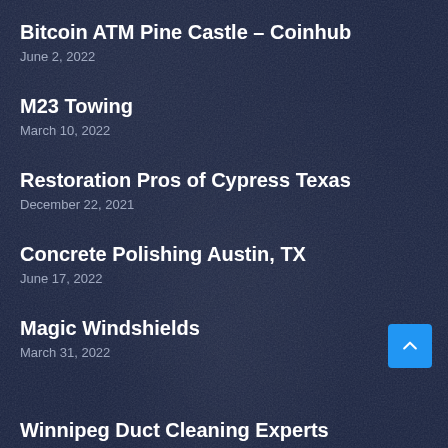Bitcoin ATM Pine Castle – Coinhub
June 2, 2022
M23 Towing
March 10, 2022
Restoration Pros of Cypress Texas
December 22, 2021
Concrete Polishing Austin, TX
June 17, 2022
Magic Windshields
March 31, 2022
Winnipeg Duct Cleaning Experts